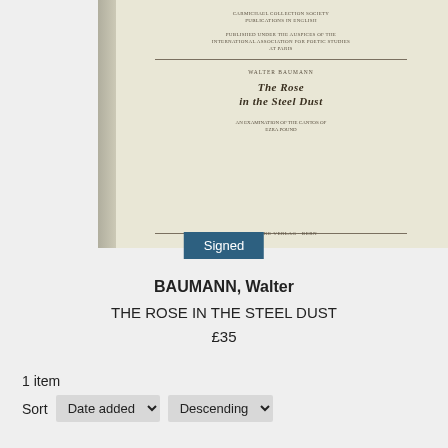[Figure (photo): Photo of a book cover titled 'The Rose in the Steel Dust' by Walter Baumann, showing a cream/beige paperback book standing upright against a light gray background.]
Signed
BAUMANN, Walter
THE ROSE IN THE STEEL DUST
£35
1 item
Sort  Date added  Descending